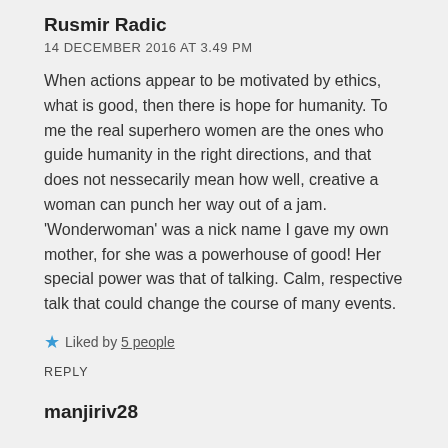Rusmir Radic
14 DECEMBER 2016 AT 3.49 PM
When actions appear to be motivated by ethics, what is good, then there is hope for humanity. To me the real superhero women are the ones who guide humanity in the right directions, and that does not nessecarily mean how well, creative a woman can punch her way out of a jam. ‘Wonderwoman’ was a nick name I gave my own mother, for she was a powerhouse of good! Her special power was that of talking. Calm, respective talk that could change the course of many events.
★ Liked by 5 people
REPLY
manjiriv28